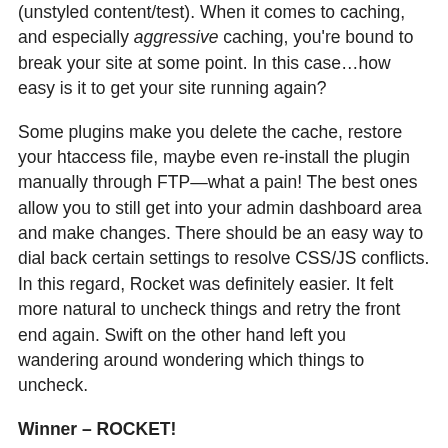(unstyled content/test). When it comes to caching, and especially aggressive caching, you're bound to break your site at some point. In this case…how easy is it to get your site running again?
Some plugins make you delete the cache, restore your htaccess file, maybe even re-install the plugin manually through FTP—what a pain! The best ones allow you to still get into your admin dashboard area and make changes. There should be an easy way to dial back certain settings to resolve CSS/JS conflicts. In this regard, Rocket was definitely easier. It felt more natural to uncheck things and retry the front end again. Swift on the other hand left you wandering around wondering which things to uncheck.
Winner – ROCKET!
5. Server Compatibility